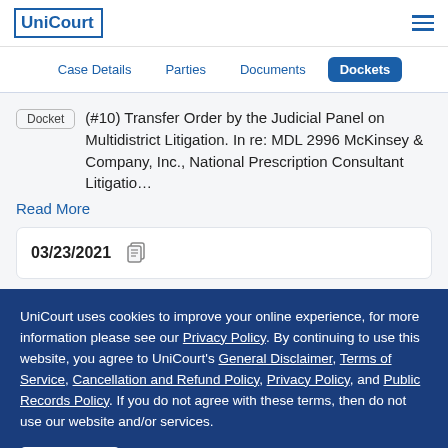UniCourt
Case Details  Parties  Documents  Dockets
Docket (#10) Transfer Order by the Judicial Panel on Multidistrict Litigation. In re: MDL 2996 McKinsey & Company, Inc., National Prescription Consultant Litigatio…
Read More
03/23/2021
UniCourt uses cookies to improve your online experience, for more information please see our Privacy Policy. By continuing to use this website, you agree to UniCourt's General Disclaimer, Terms of Service, Cancellation and Refund Policy, Privacy Policy, and Public Records Policy. If you do not agree with these terms, then do not use our website and/or services.
I AGREE